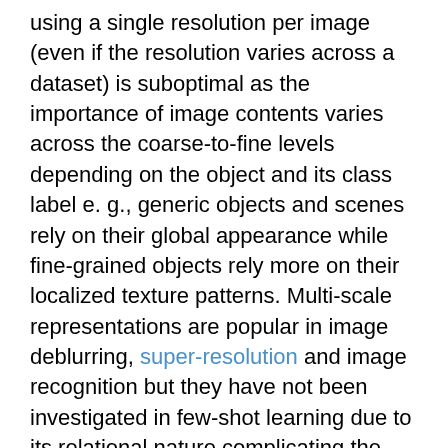using a single resolution per image (even if the resolution varies across a dataset) is suboptimal as the importance of image contents varies across the coarse-to-fine levels depending on the object and its class label e. g., generic objects and scenes rely on their global appearance while fine-grained objects rely more on their localized texture patterns. Multi-scale representations are popular in image deblurring, super-resolution and image recognition but they have not been investigated in few-shot learning due to its relational nature complicating the use of standard techniques. In this paper, we propose a novel multi-scale relation network based on the properties of second-order pooling to estimate image relations in few-shot setting. To optimize the model, we leverage a scale selector to re-weight scale-wise representations based on their second-order features. Furthermore, we propose to a apply self-supervised scale prediction. Specifically, we leverage an extra discriminator to predict the scale labels and the scale discrepancy between pairs of images. Our model achieves state-of-the-art results on standard few-shot benchmarks...